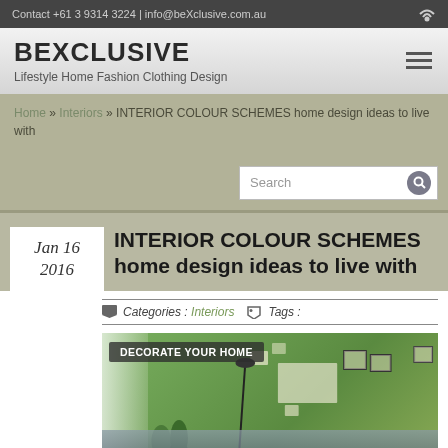Contact +61 3 9314 3224 | info@beXclusive.com.au
BEXCLUSIVE
Lifestyle Home Fashion Clothing Design
Home » Interiors » INTERIOR COLOUR SCHEMES home design ideas to live with
Search
Jan 16
2016
INTERIOR COLOUR SCHEMES home design ideas to live with
Categories : Interiors   Tags :
[Figure (photo): Interior room photo with green wall, decorative squares/frames, a floor lamp, plants, and sofa. Overlay label reads 'DECORATE YOUR HOME']